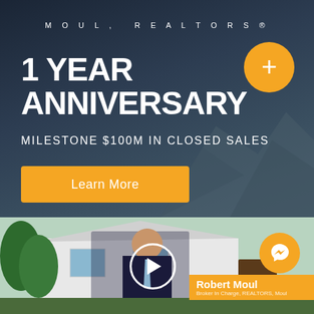MOUL, REALTORS®
1 YEAR ANNIVERSARY
MILESTONE $100M IN CLOSED SALES
Learn More
[Figure (photo): Video thumbnail showing Robert Moul, a bearded man in a dark suit with tie, standing in front of a white house with green trees. A circular play button is overlaid in the center. A Messenger chat icon appears in the bottom right. A name banner reads 'Robert Moul' with subtitle text. A orange plus button appears in the upper right of the page.]